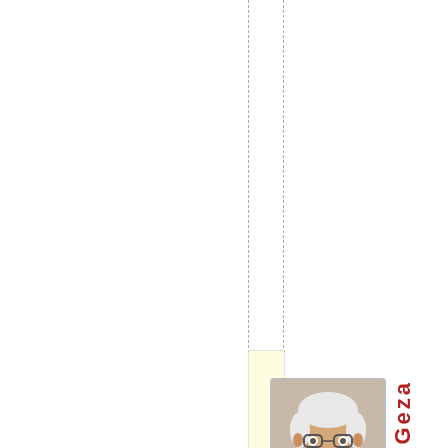hesameproblem.
[Figure (photo): Headshot of an older man with white hair and glasses, wearing a dark top, shown from shoulders up.]
Geza
Banyay Ju...